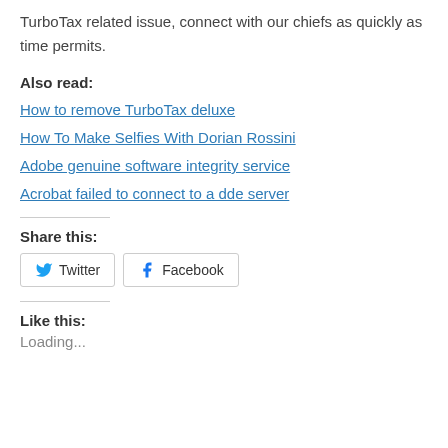TurboTax related issue, connect with our chiefs as quickly as time permits.
Also read:
How to remove TurboTax deluxe
How To Make Selfies With Dorian Rossini
Adobe genuine software integrity service
Acrobat failed to connect to a dde server
Share this:
Twitter  Facebook
Like this:
Loading...